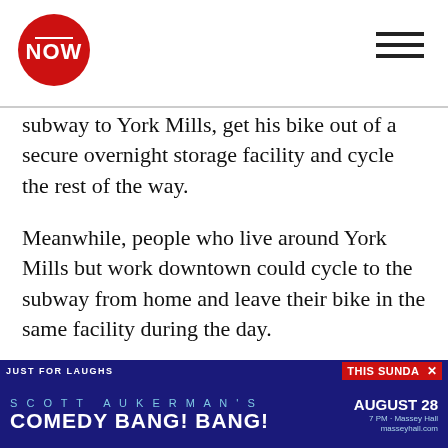NOW
subway to York Mills, get his bike out of a secure overnight storage facility and cycle the rest of the way.
Meanwhile, people who live around York Mills but work downtown could cycle to the subway from home and leave their bike in the same facility during the day.
It's intermodal travel connections we're talking about, where transit links to sustainable travel options like bikes, car-sharing, walking and taxis. Sounds so logical, but it's nowhere to be found in the newly released Climate Change And Clean Air Action Plan or the Transit City light rail proposal.
[Figure (other): Advertisement banner for Scott Aukerman's Comedy Bang! Bang! at Massey Hall, This Sunday August 28, 7 PM. Just for Laughs branding. Blue background with teal and white text.]